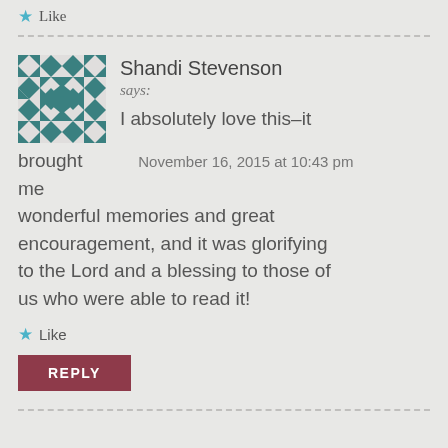[Figure (other): Star/like icon with 'Like' text at top of page]
Shandi Stevenson says: I absolutely love this–it brought    November 16, 2015 at 10:43 pm me wonderful memories and great encouragement, and it was glorifying to the Lord and a blessing to those of us who were able to read it!
Like
REPLY